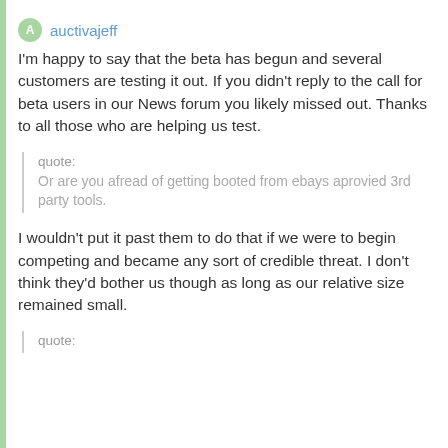auctivajeff
I'm happy to say that the beta has begun and several customers are testing it out. If you didn't reply to the call for beta users in our News forum you likely missed out. Thanks to all those who are helping us test.
quote:
Or are you afread of getting booted from ebays aprovied 3rd party tools.
I wouldn't put it past them to do that if we were to begin competing and became any sort of credible threat. I don't think they'd bother us though as long as our relative size remained small.
quote: